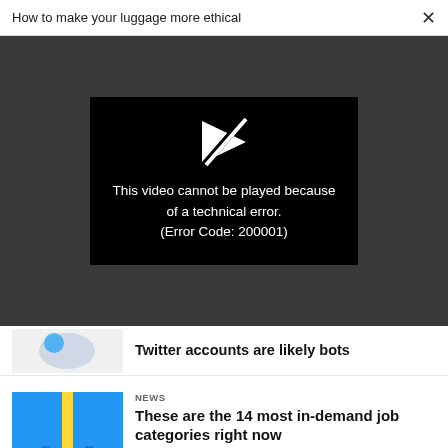How to make your luggage more ethical  ×
[Figure (screenshot): Video player error screen on dark gray background. Black box in center shows a broken play icon (white arrow with diagonal slash) and text: 'This video cannot be played because of a technical error. (Error Code: 200001)']
Twitter accounts are likely bots
NEWS
These are the 14 most in-demand job categories right now
TECHNOLOGY